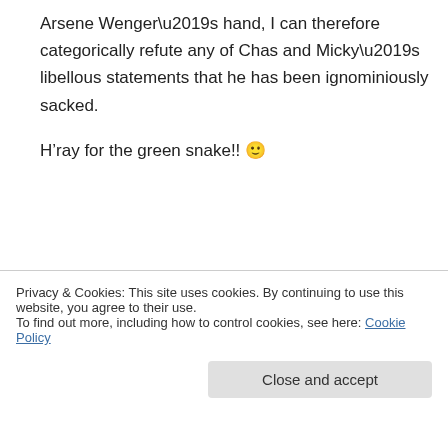Arsene Wenger’s hand, I can therefore categorically refute any of Chas and Micky’s libellous statements that he has been ignominiously sacked.
H’ray for the green snake!! 🙂
MickyDidIt89 on October 29, 2013 at 7:05 pm
Raddy/Evonne
Tried everything. RR  emailed you details
Privacy & Cookies: This site uses cookies. By continuing to use this website, you agree to their use.
To find out more, including how to control cookies, see here: Cookie Policy
Close and accept